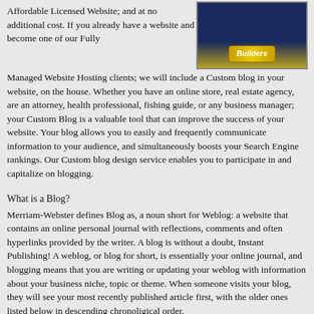Affordable Licensed Website; and at no additional cost. If you already have a website and become one of our Fully Managed Website Hosting clients; we will include a Custom blog in your website, on the house. Whether you have an online store, real estate agency, are an attorney, health professional, fishing guide, or any business manager; your Custom Blog is a valuable tool that can improve the success of your website. Your blog allows you to easily and frequently communicate information to your audience, and simultaneously boosts your Search Engine rankings. Our Custom blog design service enables you to participate in and capitalize on blogging.
[Figure (screenshot): Dark blue banner/button image with golden 'Builders' label/badge]
What is a Blog?
Merriam-Webster defines Blog as, a noun short for Weblog: a website that contains an online personal journal with reflections, comments and often hyperlinks provided by the writer. A blog is without a doubt, Instant Publishing! A weblog, or blog for short, is essentially your online journal, and blogging means that you are writing or updating your weblog with information about your business niche, topic or theme. When someone visits your blog, they will see your most recently published article first, with the older ones listed below in descending chronoligical order.
Prior to full-blown Blog software, the options for interactive communication via the Internet were narrow and problematical. First was e-mail lists, to name a few of the more...
[Figure (photo): Close-up photo showing horizontal slats or blinds in brown/tan tones]